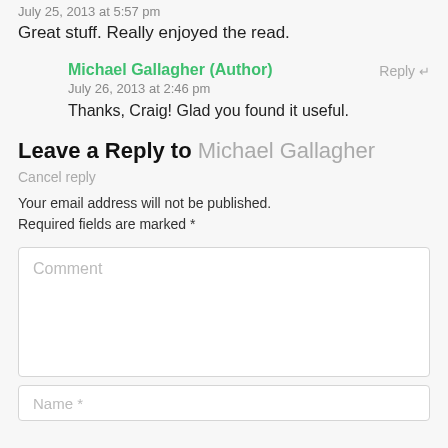July 25, 2013 at 5:57 pm
Great stuff. Really enjoyed the read.
Michael Gallagher (Author)
Reply
July 26, 2013 at 2:46 pm
Thanks, Craig! Glad you found it useful.
Leave a Reply to Michael Gallagher
Cancel reply
Your email address will not be published. Required fields are marked *
Comment
Name *